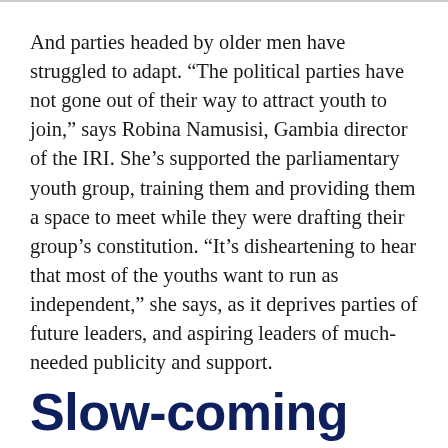And parties headed by older men have struggled to adapt. “The political parties have not gone out of their way to attract youth to join,” says Robina Namusisi, Gambia director of the IRI. She’s supported the parliamentary youth group, training them and providing them a space to meet while they were drafting their group’s constitution. “It’s disheartening to hear that most of the youths want to run as independent,” she says, as it deprives parties of future leaders, and aspiring leaders of much-needed publicity and support.
Slow-coming